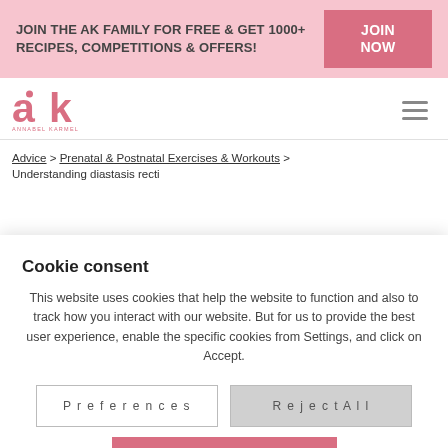JOIN THE AK FAMILY FOR FREE & GET 1000+ RECIPES, COMPETITIONS & OFFERS!
JOIN NOW
[Figure (logo): Annabel Karmel logo - pink AK letters with apple motif and text ANNABEL KARMEL]
Advice > Prenatal & Postnatal Exercises & Workouts > Understanding diastasis recti
Cookie consent
This website uses cookies that help the website to function and also to track how you interact with our website. But for us to provide the best user experience, enable the specific cookies from Settings, and click on Accept.
Preferences
Reject All
Accept All